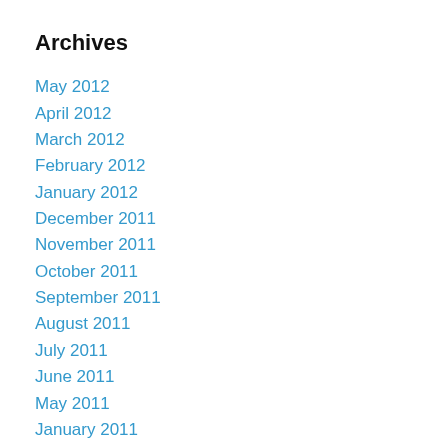Archives
May 2012
April 2012
March 2012
February 2012
January 2012
December 2011
November 2011
October 2011
September 2011
August 2011
July 2011
June 2011
May 2011
January 2011
December 2010
November 2010
October 2010